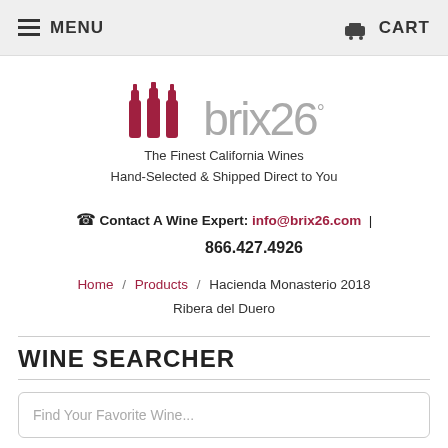MENU   CART
[Figure (logo): brix26 logo with three dark red wine bottle silhouettes and the text 'brix26°' in light gray]
The Finest California Wines
Hand-Selected & Shipped Direct to You
☎ Contact A Wine Expert: info@brix26.com | 866.427.4926
Home / Products / Hacienda Monasterio 2018 Ribera del Duero
WINE SEARCHER
Find Your Favorite Wine...
SHOP BY WINE